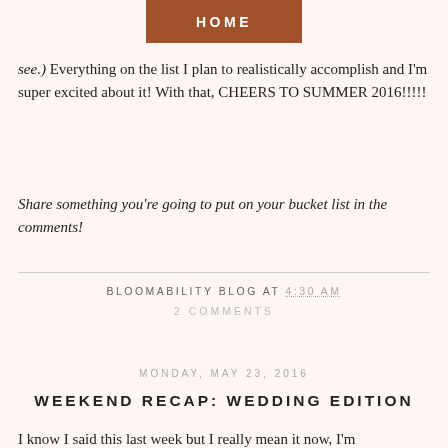HOME
see.) Everything on the list I plan to realistically accomplish and I'm super excited about it! With that, CHEERS TO SUMMER 2016!!!!!
Share something you're going to put on your bucket list in the comments!
BLOOMABILITY BLOG AT 4:30 AM
2 COMMENTS
MONDAY, MAY 23, 2016
WEEKEND RECAP: WEDDING EDITION
I know I said this last week but I really mean it now, I'm